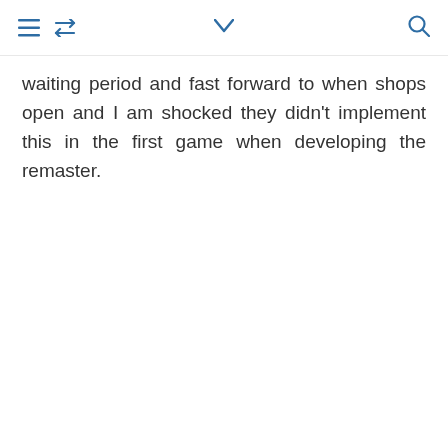[menu icon] [retweet icon] [chevron down icon] [search icon]
waiting period and fast forward to when shops open and I am shocked they didn't implement this in the first game when developing the remaster.